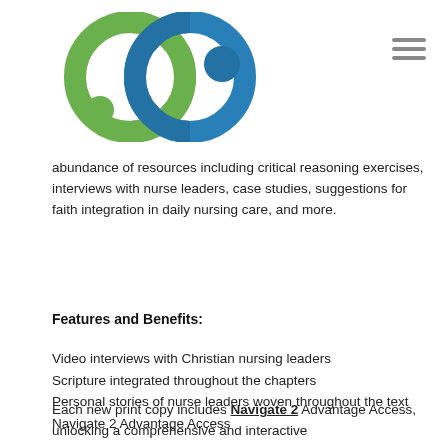[Figure (logo): Two overlapping circular rings logo — green ring on the left and blue ring on the right, with colored dots, on white background]
abundance of resources including critical reasoning exercises, interviews with nurse leaders, case studies, suggestions for faith integration in daily nursing care, and more.
Features and Benefits:
Video interviews with Christian nursing leaders
Scripture integrated throughout the chapters
Personal stories of nurse leaders woven throughout the text
Navigate 2 Advantage Access
Each new print copy includes Navigate 2 Advantage Access, unlocking a comprehensive and interactive